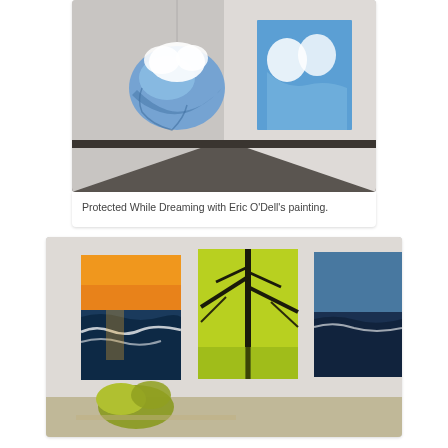[Figure (photo): Gallery installation photo showing a blue fabric sculpture floating in a white corner room with a blue painting on the wall depicting two figures with clouds.]
Protected While Dreaming with Eric O'Dell's painting.
[Figure (photo): Gallery wall with multiple landscape paintings including sunset, water/waves, trees, and a partial third painting, with yellow sculptural objects on a table in the foreground.]